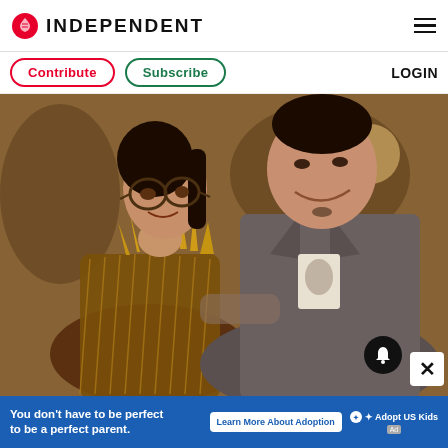INDEPENDENT
Contribute  Subscribe  LOGIN
[Figure (photo): Two people at a social event — a woman wearing glasses and a gold statement necklace with a bronze metallic dress, and a man wearing a grey checked blazer over a graphic t-shirt, both smiling.]
You don't have to be perfect to be a perfect parent.  Learn More About Adoption  Adopt US Kids